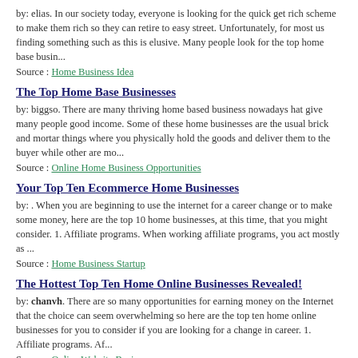by: elias. In our society today, everyone is looking for the quick get rich scheme to make them rich so they can retire to easy street. Unfortunately, for most us finding something such as this is elusive. Many people look for the top home base busin...
Source : Home Business Idea
The Top Home Base Businesses
by: biggso. There are many thriving home based business nowadays hat give many people good income. Some of these home businesses are the usual brick and mortar things where you physically hold the goods and deliver them to the buyer while other are mo...
Source : Online Home Business Opportunities
Your Top Ten Ecommerce Home Businesses
by: . When you are beginning to use the internet for a career change or to make some money, here are the top 10 home businesses, at this time, that you might consider. 1. Affiliate programs. When working affiliate programs, you act mostly as ...
Source : Home Business Startup
The Hottest Top Ten Home Online Businesses Revealed!
by: chanvh. There are so many opportunities for earning money on the Internet that the choice can seem overwhelming so here are the top ten home online businesses for you to consider if you are looking for a change in career. 1. Affiliate programs. Af...
Source : Online Website Business
Top 5 Dell Laser Printers for Home Offices and Small Businesses